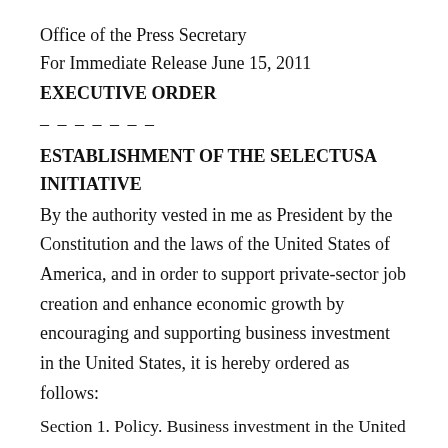Office of the Press Secretary
For Immediate Release June 15, 2011
EXECUTIVE ORDER
– – – – – – –
ESTABLISHMENT OF THE SELECTUSA INITIATIVE
By the authority vested in me as President by the Constitution and the laws of the United States of America, and in order to support private-sector job creation and enhance economic growth by encouraging and supporting business investment in the United States, it is hereby ordered as follows:
Section 1. Policy. Business investment in the United States by both domestic and foreign firms, whether in the form of new equipment or facilities or the expansion of existing facilities, is a major engine of economic growth